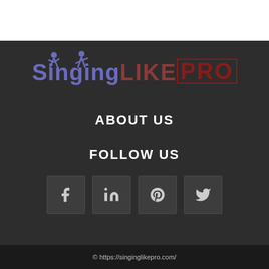[Figure (logo): Singing Like Pro logo with stylized text in blue-purple and dark red colors, with silhouette figures above]
ABOUT US
FOLLOW US
[Figure (infographic): Row of four social media icon buttons: Facebook (f), LinkedIn (in), Pinterest (p), Twitter (bird)]
© https://singinglikepro.com/